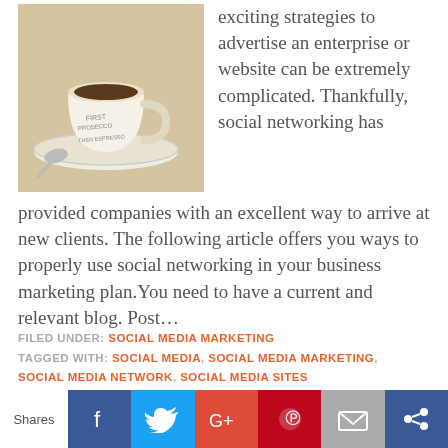[Figure (photo): Photo of an espresso cup on a saucer with a spoon, on a light wooden table. The cup has text reading 'FIRST PROSECCO' and 'THEN ESPRESSO'.]
exciting strategies to advertise an enterprise or website can be extremely complicated. Thankfully, social networking has provided companies with an excellent way to arrive at new clients. The following article offers you ways to properly use social networking in your business marketing plan.You need to have a current and relevant blog. Post…
FILED UNDER: SOCIAL MEDIA MARKETING
TAGGED WITH: SOCIAL MEDIA, SOCIAL MEDIA MARKETING, SOCIAL MEDIA NETWORK, SOCIAL MEDIA SITES
Shares